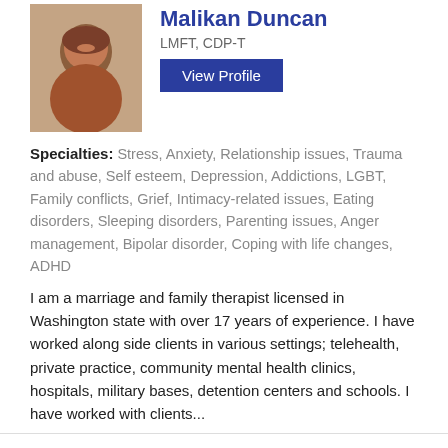[Figure (photo): Profile photo of Malikan Duncan, a woman with pink-tinted hair]
Malikan Duncan
LMFT, CDP-T
View Profile
Specialties: Stress, Anxiety, Relationship issues, Trauma and abuse, Self esteem, Depression, Addictions, LGBT, Family conflicts, Grief, Intimacy-related issues, Eating disorders, Sleeping disorders, Parenting issues, Anger management, Bipolar disorder, Coping with life changes, ADHD
I am a marriage and family therapist licensed in Washington state with over 17 years of experience. I have worked along side clients in various settings; telehealth, private practice, community mental health clinics, hospitals, military bases, detention centers and schools. I have worked with clients...
sponsored
[Figure (photo): Profile photo of Angela Frye, a woman with short dark hair, smiling]
Angela Frye
LMHC, SUDP
View Profile